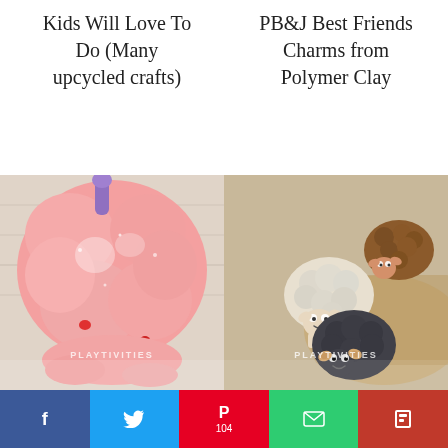Kids Will Love To Do (Many upcycled crafts)
PB&J Best Friends Charms from Polymer Clay
[Figure (photo): Close-up photo of pink fluffy slime or cloud dough craft with PLAYTIVITIES watermark]
[Figure (photo): Photo of polymer clay sheep charms in white, brown and black colors on a wooden board with PLAYTIVITIES watermark]
f  [Twitter bird]  [Pinterest P] 104  [envelope]  [Flipboard F]